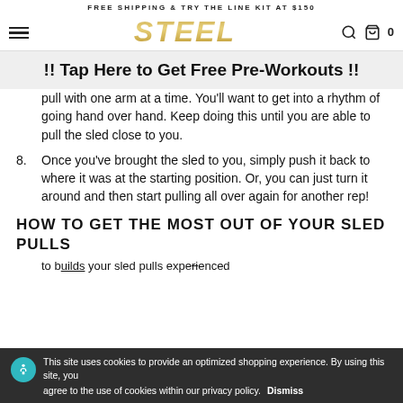FREE SHIPPING & TRY THE LINE KIT AT $150
[Figure (logo): STEEL brand logo in gold italic bold text with hamburger menu, search icon, and cart icon showing 0]
!! Tap Here to Get Free Pre-Workouts !!
pull with one arm at a time. You’ll want to get into a rhythm of going hand over hand. Keep doing this until you are able to pull the sled close to you.
8. Once you’ve brought the sled to you, simply push it back to where it was at the starting position. Or, you can just turn it around and then start pulling all over again for another rep!
HOW TO GET THE MOST OUT OF YOUR SLED PULLS
This site uses cookies to provide an optimized shopping experience. By using this site, you agree to the use of cookies within our privacy policy. Dismiss